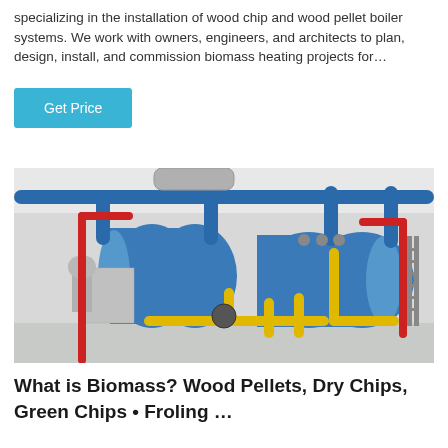specializing in the installation of wood chip and wood pellet boiler systems. We work with owners, engineers, and architects to plan, design, install, and commission biomass heating projects for…
Get Price
[Figure (photo): Industrial boiler room with two large horizontal blue boilers connected by blue, red, and yellow pipes, valves, and fittings in a white-floored facility.]
What is Biomass? Wood Pellets, Dry Chips, Green Chips • Froling …